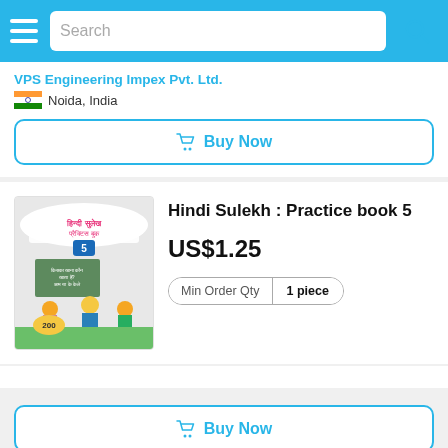[Figure (screenshot): Mobile app search bar with hamburger menu, search input placeholder, and search icon on blue background]
VPS Engineering Impex Pvt. Ltd.
Noida, India
Buy Now
[Figure (photo): Hindi Sulekh Practice book 5 cover showing children and Hindi text]
Hindi Sulekh : Practice book 5
US$1.25
Min Order Qty  1 piece
VPS Engineering Impex Pvt. Ltd.
Noida, India
Buy Now